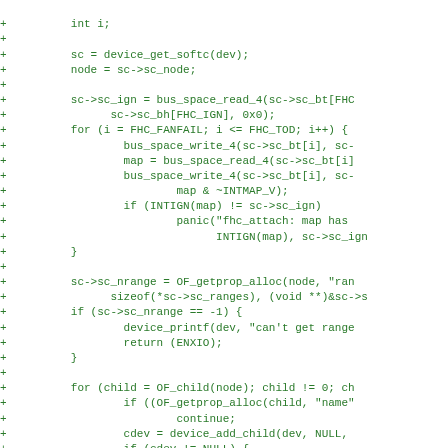[Figure (screenshot): Code diff showing C source code additions (lines prefixed with '+') for a device driver function, in green monospace font on white background. Code includes device_get_softc, bus_space_read_4, bus_space_write_4, OF_getprop_alloc, device_printf, OF_child, device_add_child, and malloc calls.]